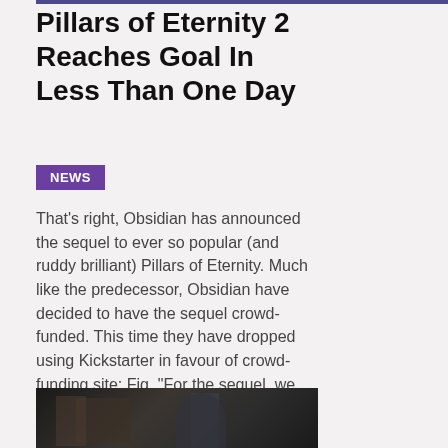Pillars of Eternity 2 Reaches Goal In Less Than One Day
NEWS
That's right, Obsidian has announced the sequel to ever so popular (and ruddy brilliant) Pillars of Eternity. Much like the predecessor, Obsidian have decided to have the sequel crowd-funded. This time they have dropped using Kickstarter in favour of crowd-funding site; Fig. "For the sequel, we have turned to Fig...
[Figure (photo): Dark atmospheric photo showing figures in a game scene, likely from Pillars of Eternity 2]